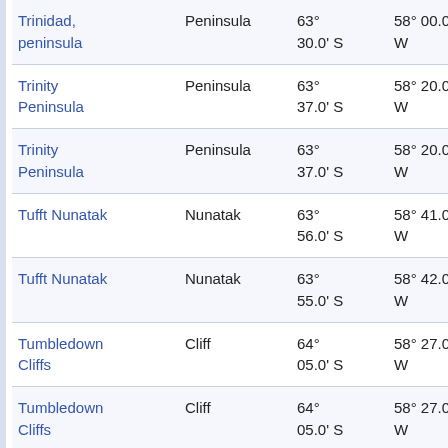| Name | Type | Latitude | Longitude | Elevation |
| --- | --- | --- | --- | --- |
| Trinidad, peninsula | Peninsula | 63° 30.0' S | 58° 00.0' W | 33.5 at 74 |
| Trinity Peninsula | Peninsula | 63° 37.0' S | 58° 20.0' W | 16.1 at 10 |
| Trinity Peninsula | Peninsula | 63° 37.0' S | 58° 20.0' W | 16.1 at 10 |
| Tufft Nunatak | Nunatak | 63° 56.0' S | 58° 41.0' W | 39.0 at 18 |
| Tufft Nunatak | Nunatak | 63° 55.0' S | 58° 42.0' W | 37.1 at 18 |
| Tumbledown Cliffs | Cliff | 64° 05.0' S | 58° 27.0' W | 56.5 at 17 |
| Tumbledown Cliffs | Cliff | 64° 05.0' S | 58° 27.0' W | 56.5 at 17 |
| Tumbledown Mesa |  | 64° 04.7' S | 58° 26.3' W | 56.0 at 16 |